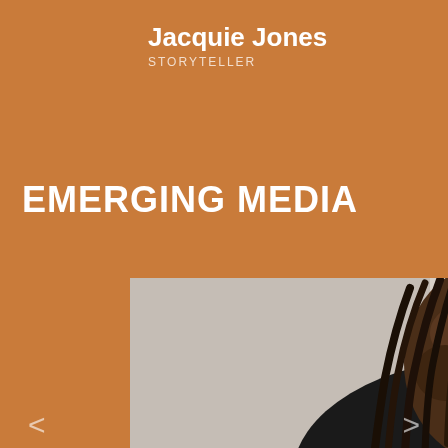Jacquie Jones
STORYTELLER
EMERGING MEDIA
[Figure (photo): Portrait photo of a Black woman with long dreadlocks, looking slightly upward, with a blurred background. The photo is shown in the lower portion of the page.]